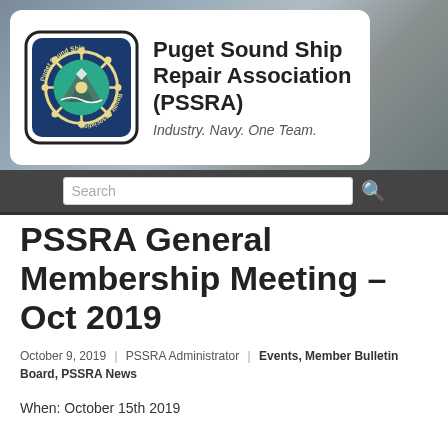[Figure (logo): Puget Sound Ship Repair Association logo with ship wheel and mountain/water imagery on blue background, alongside organization name and tagline]
PSSRA General Membership Meeting – Oct 2019
October 9, 2019  |  PSSRA Administrator  |  Events, Member Bulletin Board, PSSRA News
When: October 15th 2019
Time: 1130 – 1330